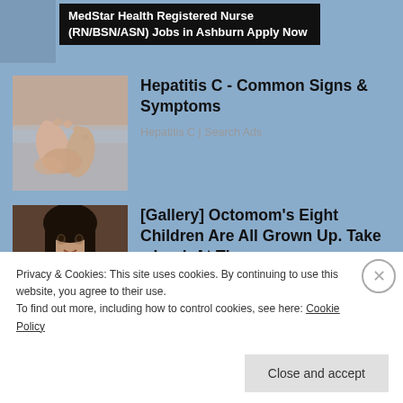[Figure (other): Partial image placeholder for MedStar Health nurse job ad]
MedStar Health Registered Nurse (RN/BSN/ASN) Jobs in Ashburn Apply Now
[Figure (photo): Photo of person holding their feet, related to Hepatitis C symptoms]
Hepatitis C - Common Signs & Symptoms
Hepatitis C | Search Ads
[Figure (photo): Photo of Octomom (Nadya Suleman) holding babies]
[Gallery] Octomom's Eight Children Are All Grown Up. Take a Look At Them
Privacy & Cookies: This site uses cookies. By continuing to use this website, you agree to their use.
To find out more, including how to control cookies, see here: Cookie Policy
Close and accept